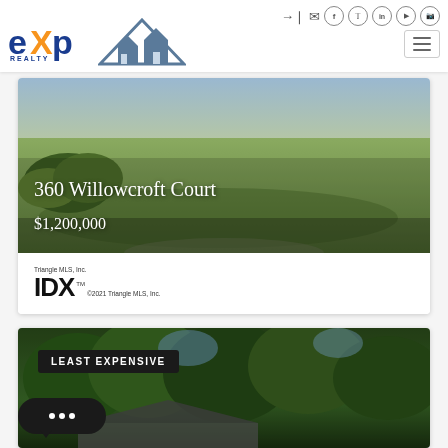[Figure (logo): eXp Realty logo with orange e and blue xp text, plus house/mountain icon logo]
[Figure (photo): Aerial photo of grassy yard at 360 Willowcroft Court with overlay text showing address and price]
360 Willowcroft Court
$1,200,000
[Figure (logo): Triangle MLS, Inc. IDX logo with copyright 2021 Triangle MLS, Inc.]
[Figure (photo): Photo of wooded/tree area property with LEAST EXPENSIVE badge overlay]
LEAST EXPENSIVE